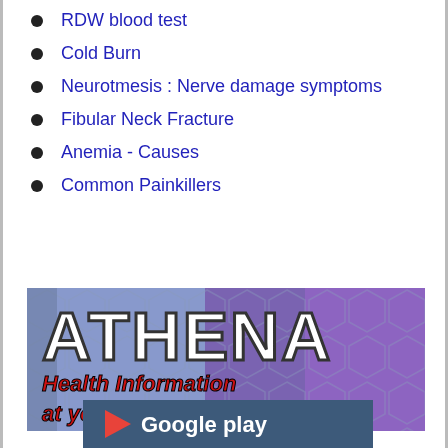RDW blood test
Cold Burn
Neurotmesis : Nerve damage symptoms
Fibular Neck Fracture
Anemia - Causes
Common Painkillers
[Figure (logo): ATHENA Health Information at your finger tips - app banner with hexagonal pattern background in blue-grey and purple, large white ATHENA text and red bold subtitle text]
[Figure (logo): Google Play store button with dark blue background and Google Play text]